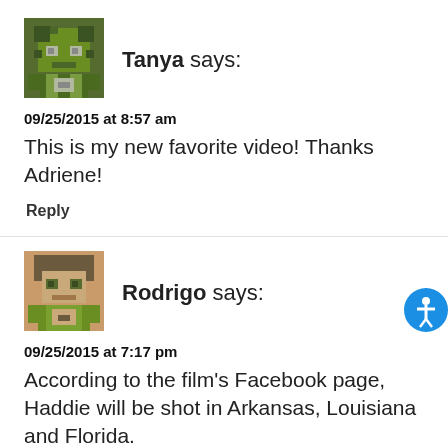[Figure (illustration): Pixel art avatar for user Tanya, green and grey Minecraft-style character]
Tanya says:
09/25/2015 at 8:57 am
This is my new favorite video! Thanks Adriene!
Reply
[Figure (illustration): Pixel art avatar for user Rodrigo, brown and olive green Minecraft-style character]
Rodrigo says:
09/25/2015 at 7:17 pm
According to the film's Facebook page, Haddie will be shot in Arkansas, Louisiana and Florida.
If you like it too, follow my steps about how to download Anime video.